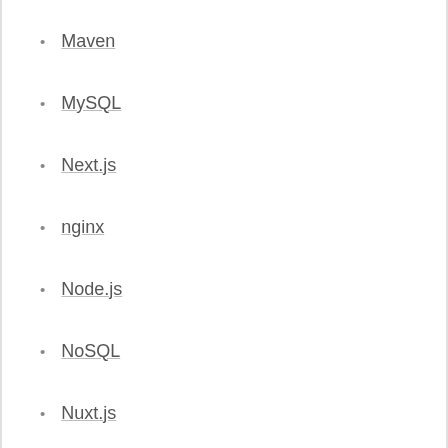Maven
MySQL
Next.js
nginx
Node.js
NoSQL
Nuxt.js
OAuth
Open ID Connect
Oracle
OS
PHP
PL/SQL
PostgreSQL
PowerShell